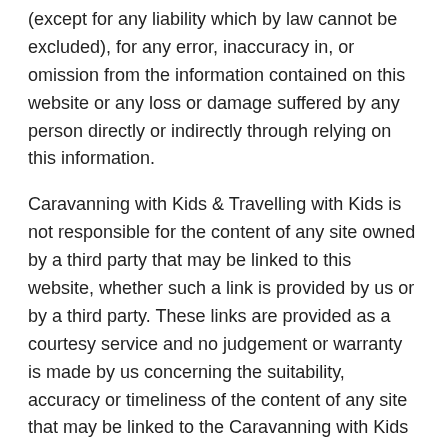(except for any liability which by law cannot be excluded), for any error, inaccuracy in, or omission from the information contained on this website or any loss or damage suffered by any person directly or indirectly through relying on this information.
Caravanning with Kids & Travelling with Kids is not responsible for the content of any site owned by a third party that may be linked to this website, whether such a link is provided by us or by a third party. These links are provided as a courtesy service and no judgement or warranty is made by us concerning the suitability, accuracy or timeliness of the content of any site that may be linked to the Caravanning with Kids & Travelling with Kids website. By providing access to other websites, we are not recommending or endorsing any brand, products or services offered by the organisation sponsoring or owning the linked website.
Let's Go Caravan & Camping...